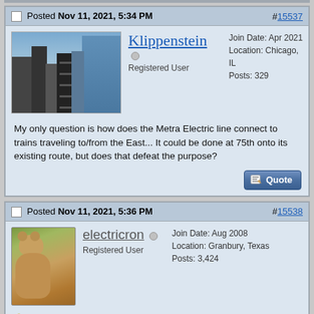Posted Nov 11, 2021, 5:34 PM #15537
Klippenstein
Registered User
Join Date: Apr 2021
Location: Chicago, IL
Posts: 329
My only question is how does the Metra Electric line connect to trains traveling to/from the East... It could be done at 75th onto its existing route, but does that defeat the purpose?
Posted Nov 11, 2021, 5:36 PM #15538
electricron
Registered User
Join Date: Aug 2008
Location: Granbury, Texas
Posts: 3,424
Too little information to actually state what plan will be implemented.
But let's not confuse Express Commuter trains with High Speed